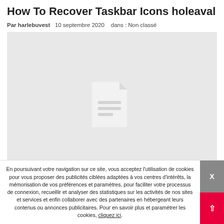How To Recover Taskbar Icons holeaval
Par harlebuvest   10 septembre 2020   dans : Non classé
[Figure (other): Placeholder image with a document icon centered on a light grey background]
how to recover taskbar icons how to recover desktop icons
En poursuivant votre navigation sur ce site, vous acceptez l'utilisation de cookies pour vous proposer des publicités ciblées adaptées à vos centres d'intérêts, la mémorisation de vos préférences et paramètres, pour faciliter votre processus de connexion, recueillir et analyser des statistiques sur les activités de nos sites et services et enfin collaborer avec des partenaires en hébergeant leurs contenus ou annonces publicitaires. Pour en savoir plus et paramétrer les cookies, cliquez ici.